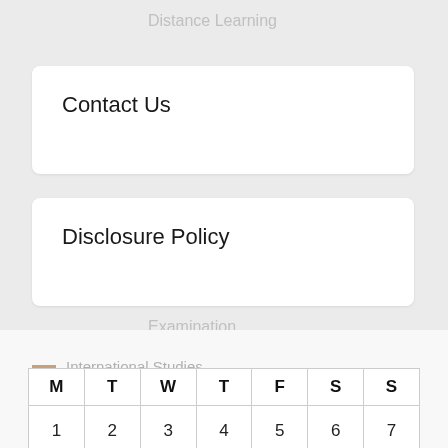Distance Learning
Contact Us
Education
Disclosure Policy
Examination
Sitemap
General
International Studies
| M | T | W | T | F | S | S |
| --- | --- | --- | --- | --- | --- | --- |
| 1 | 2 | 3 | 4 | 5 | 6 | 7 |
| 8 | 9 | 10 | 11 | 12 | 13 | 14 |
| 15 | 16 | 17 | 18 | 19 | 20 | 21 |